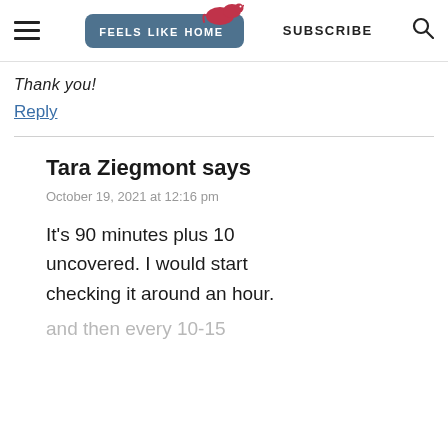feels like home — SUBSCRIBE
Thank you!
Reply
Tara Ziegmont says
October 19, 2021 at 12:16 pm
It's 90 minutes plus 10 uncovered. I would start checking it around an hour, and then every 10-15